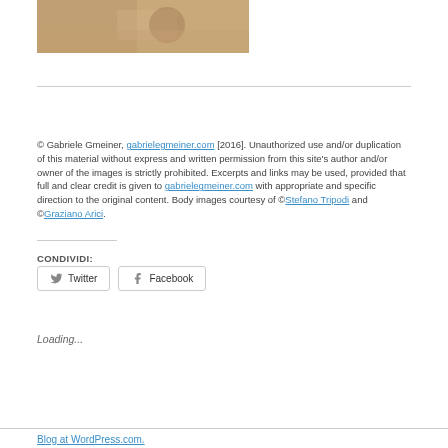[Figure (photo): Close-up photo of hands or skin, brownish warm tones, partial view at top of page]
© Gabriele Gmeiner, gabrielegmeiner.com [2016]. Unauthorized use and/or duplication of this material without express and written permission from this site's author and/or owner of the images is strictly prohibited. Excerpts and links may be used, provided that full and clear credit is given to gabrielegmeiner.com with appropriate and specific direction to the original content. Body images courtesy of ©Stefano Tripodi and ©Graziano Arici.
CONDIVIDI:
Twitter
Facebook
Loading...
Blog at WordPress.com.